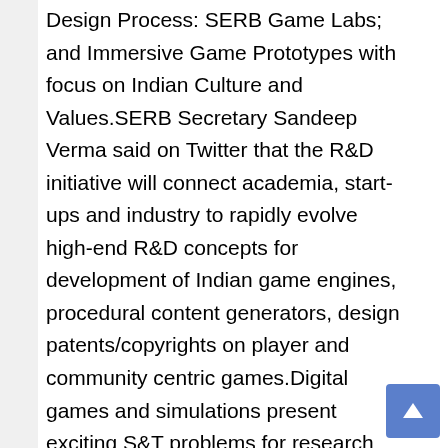Design Process: SERB Game Labs; and Immersive Game Prototypes with focus on Indian Culture and Values.SERB Secretary Sandeep Verma said on Twitter that the R&D initiative will connect academia, start-ups and industry to rapidly evolve high-end R&D concepts for development of Indian game engines, procedural content generators, design patents/copyrights on player and community centric games.Digital games and simulations present exciting S&T problems for research and translation, leading to significant commercial potential on global scale, Verma said.Innovation will include cross-cutting research in engineering, computer science, visual graphics, fine arts, and social sciences, he said.Prime Minister Narendra Modi has